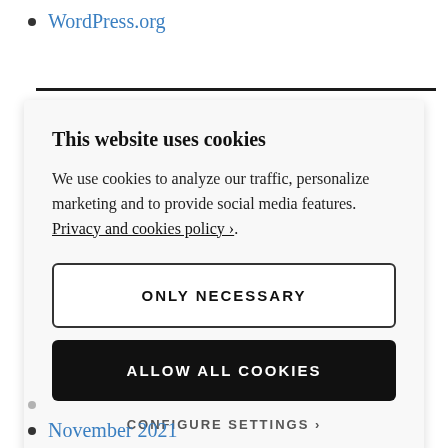WordPress.org
This website uses cookies

We use cookies to analyze our traffic, personalize marketing and to provide social media features. Privacy and cookies policy ›.

ONLY NECESSARY
ALLOW ALL COOKIES
CONFIGURE SETTINGS ›
November 2021